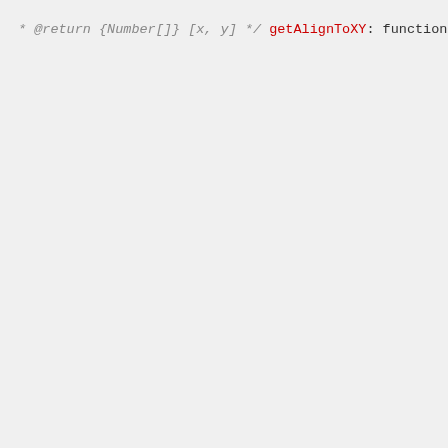[Figure (screenshot): JavaScript source code snippet showing getAlignToXY and getAlignToRegion function definitions with syntax highlighting: red for function names/keywords, teal for method calls and string values, purple for parameters, gray/italic for comments.]